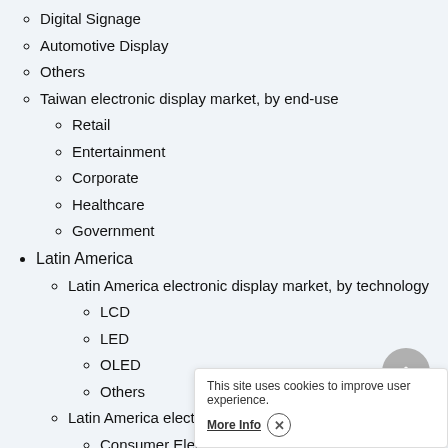Digital Signage
Automotive Display
Others
Taiwan electronic display market, by end-use
Retail
Entertainment
Corporate
Healthcare
Government
Latin America
Latin America electronic display market, by technology
LCD
LED
OLED
Others
Latin America electronic display market, by application
Consumer Electronics
This site uses cookies to improve user experience.
More Info